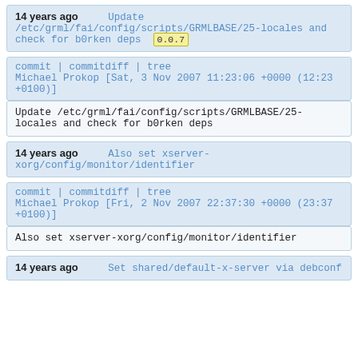14 years ago   Update /etc/grml/fai/config/scripts/GRMLBASE/25-locales and check for b0rken deps  0.0.7
commit | commitdiff | tree
Michael Prokop [Sat, 3 Nov 2007 11:23:06 +0000 (12:23 +0100)]
Update /etc/grml/fai/config/scripts/GRMLBASE/25-locales and check for b0rken deps
14 years ago   Also set xserver-xorg/config/monitor/identifier
commit | commitdiff | tree
Michael Prokop [Fri, 2 Nov 2007 22:37:30 +0000 (23:37 +0100)]
Also set xserver-xorg/config/monitor/identifier
14 years ago   Set shared/default-x-server via debconf